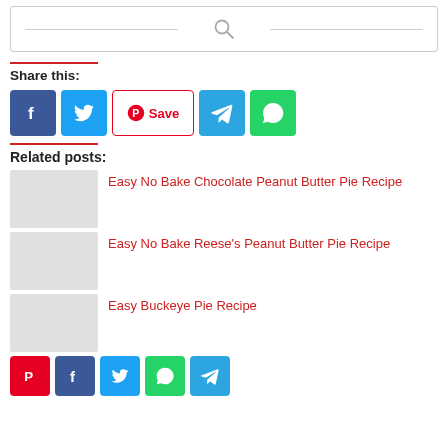[Figure (screenshot): Search bar with magnifying glass icon and horizontal lines on each side]
Share this:
[Figure (infographic): Social sharing buttons: Facebook (blue), Twitter (blue), Pinterest Save (red/white), Telegram (blue), WhatsApp (green)]
Related posts:
Easy No Bake Chocolate Peanut Butter Pie Recipe
Easy No Bake Reese's Peanut Butter Pie Recipe
Easy Buckeye Pie Recipe
[Figure (infographic): Bottom social sharing icon row: Pinterest (red), Facebook (blue), Twitter (blue), WhatsApp (green), Telegram (blue)]